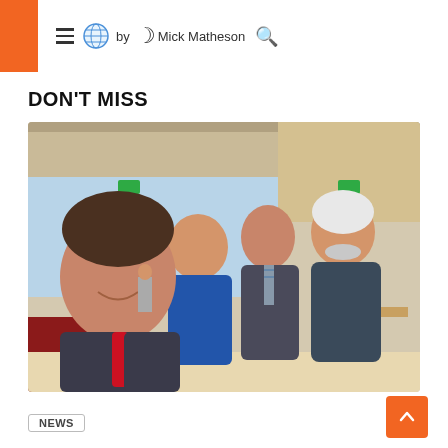by Mick Matheson
DON'T MISS
[Figure (photo): Selfie photo of four men in an indoor venue, possibly a parliament or conference building. The man in the foreground wears a dark suit with a red tie. Three other men stand in the background — one in a blue shirt, one in a dark suit with a striped tie, and one older man with white hair in a dark blazer. Wine bottles are visible on a table in the background.]
NEWS